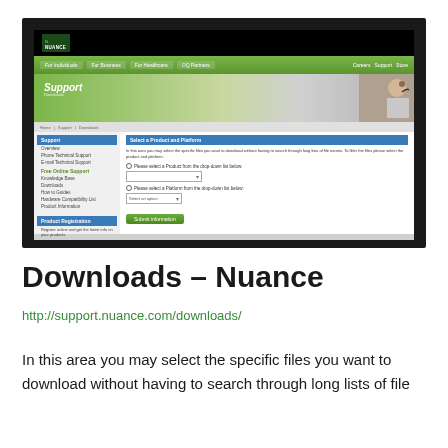[Figure (screenshot): Screenshot of the Nuance support website showing the Downloads page with navigation menu, sidebar with support options, and a product/platform selection form with dropdown menus and a submit button.]
Downloads – Nuance
http://support.nuance.com/downloads/
In this area you may select the specific files you want to download without having to search through long lists of file